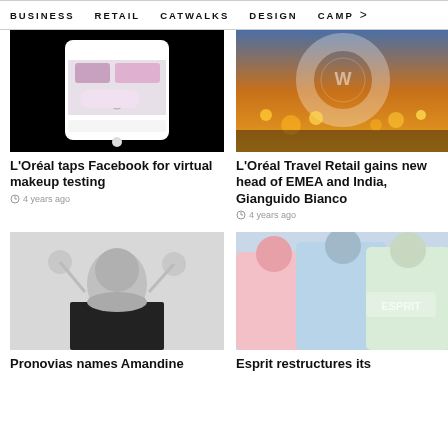BUSINESS   RETAIL   CATWALKS   DESIGN   CAMP >
[Figure (photo): Phone screen showing makeup AR app with black borders]
L'Oréal taps Facebook for virtual makeup testing
4 years ago
[Figure (photo): L'Oréal Travel Retail cityscape at dusk with bokeh lights]
L'Oréal Travel Retail gains new head of EMEA and India, Gianguido Bianco
4 years ago
[Figure (photo): Black and white photo of woman in black outfit against white background]
[Figure (photo): Three young women wearing Esprit pastel hoodies]
Pronovias names Amandine
Esprit restructures its